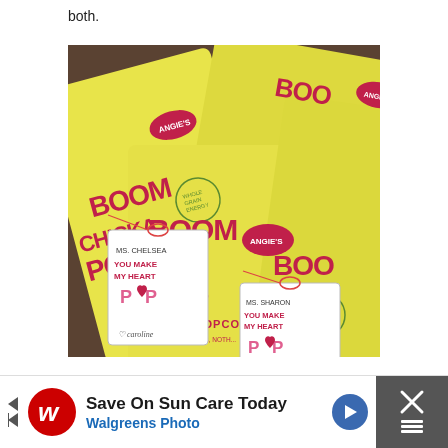both.
[Figure (photo): Angie's Boom Chicka Pop Sea Salt Popcorn bags with handwritten Valentine's Day gift tags reading 'Ms. Chelsea You Make My Heart Pop' signed by Caroline, and 'Ms. Sharon You Make My Heart Pop' signed by Thomas.]
[Figure (infographic): Advertisement banner: Save On Sun Care Today - Walgreens Photo, with Walgreens logo and blue arrow icon. Black X close button on right.]